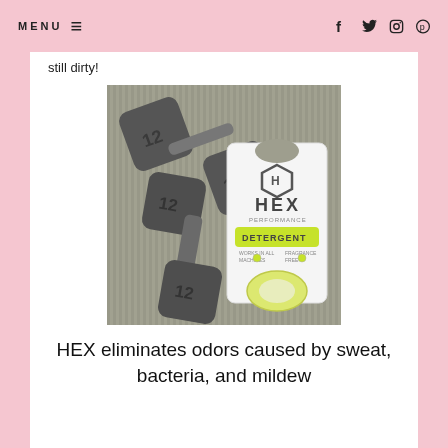MENU (hamburger icon) | f  t  (instagram)  (pinterest)
still dirty!
[Figure (photo): Photo of two 12-pound dumbbells with a white HEX Performance detergent bag/pouch featuring green accents, placed on a gray striped background.]
HEX eliminates odors caused by sweat, bacteria, and mildew